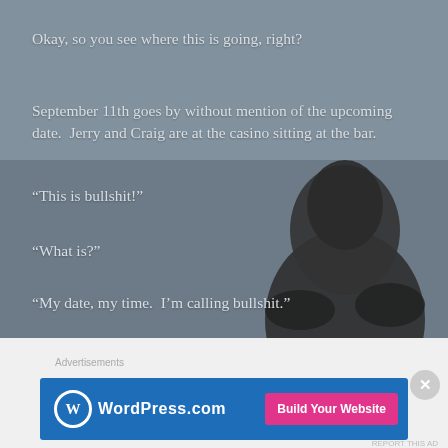[Figure (photo): Dark moody background image with a hooded figure silhouetted against a grey sky, viewed from behind]
Okay, so you see where this is going, right?
September 11th goes by without mention of the upcoming date.  Jerry and Craig are at the casino sitting at the bar.
“This is bullshit!”
“What is?”
“My date, my time.  I’m calling bullshit.”
“Well look at it this way.  You won’t know it is until the 22nd comes around and you are going to work in the morning.  Seriously Craig, it was just a coincidence that
Advertisements
[Figure (logo): WordPress.com advertisement banner with blue background, WordPress logo on left and pink 'Build Your Website' button on right]